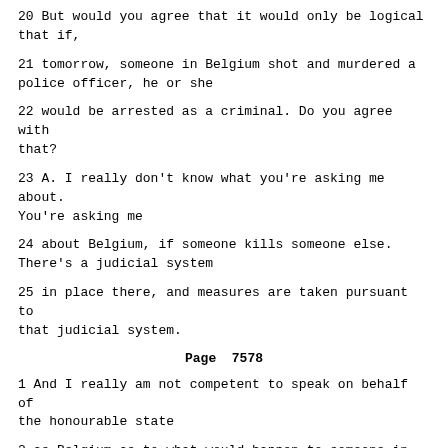20 But would you agree that it would only be logical that if,
21 tomorrow, someone in Belgium shot and murdered a police officer, he or she
22 would be arrested as a criminal. Do you agree with that?
23 A. I really don't know what you're asking me about. You're asking me
24 about Belgium, if someone kills someone else. There's a judicial system
25 in place there, and measures are taken pursuant to that judicial system.
Page 7578
1 And I really am not competent to speak on behalf of the honourable state
2 as Belgium as to what would happen to someone in the case that you
3 described, I'm not here to testify about Belgium.
4 Q. But perhaps can you agree with that. That if the person who shot